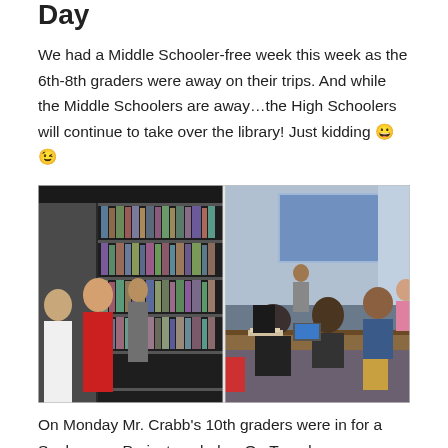Day
We had a Middle Schooler-free week this week as the 6th-8th graders were away on their trips. And while the Middle Schoolers are away…the High Schoolers will continue to take over the library! Just kidding 😀 😉
[Figure (photo): Two photos side by side: left photo shows students browsing bookshelves in a library; right photo shows students and a teacher working together at a table with laptops and books, with a projection screen in the background.]
On Monday Mr. Crabb's 10th graders were in for a Sophomore Project work day. On Tuesday we honored